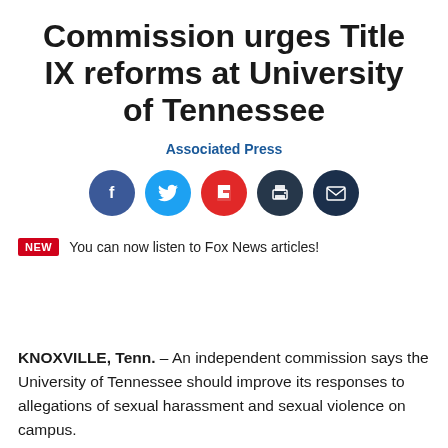Commission urges Title IX reforms at University of Tennessee
Associated Press
[Figure (infographic): Five social media share/action icons in circles: Facebook (dark blue), Twitter (light blue), Flipboard (red), Print (dark navy), Email (dark navy)]
NEW  You can now listen to Fox News articles!
KNOXVILLE, Tenn. – An independent commission says the University of Tennessee should improve its responses to allegations of sexual harassment and sexual violence on campus.